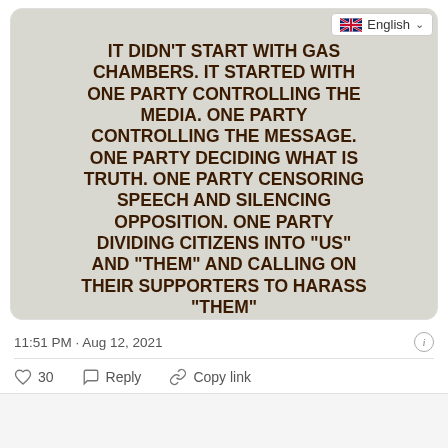[Figure (screenshot): Screenshot of a Twitter/social media post showing a photo of a hand-painted sign with text about political control and historical warning, with a language selector showing 'English' with UK flag in the top right corner.]
IT DIDN'T START WITH GAS CHAMBERS. IT STARTED WITH ONE PARTY CONTROLLING THE MEDIA. ONE PARTY CONTROLLING THE MESSAGE. ONE PARTY DECIDING WHAT IS TRUTH. ONE PARTY CENSORING SPEECH AND SILENCING OPPOSITION. ONE PARTY DIVIDING CITIZENS INTO 'US' AND 'THEM' AND CALLING ON THEIR SUPPORTERS TO HARASS 'THEM'. IT STARTED WHEN GOOD PEOPLE TURNED A BLIND EYE
11:51 PM · Aug 12, 2021
30  Reply  Copy link